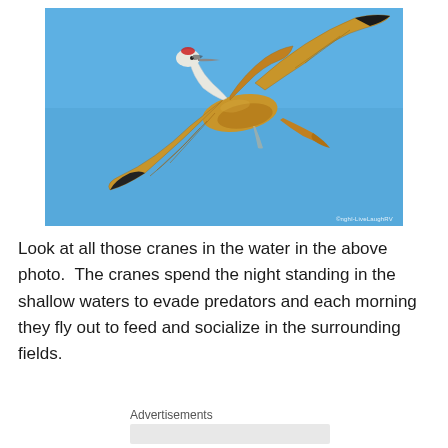[Figure (photo): A sandhill crane in flight against a clear blue sky. The bird has brown/tan wings spread wide, a white neck and head, and black wingtip feathers. A small watermark reading '©nghl-LiveLaughRV' appears in the lower right corner of the photo.]
Look at all those cranes in the water in the above photo.  The cranes spend the night standing in the shallow waters to evade predators and each morning they fly out to feed and socialize in the surrounding fields.
Advertisements